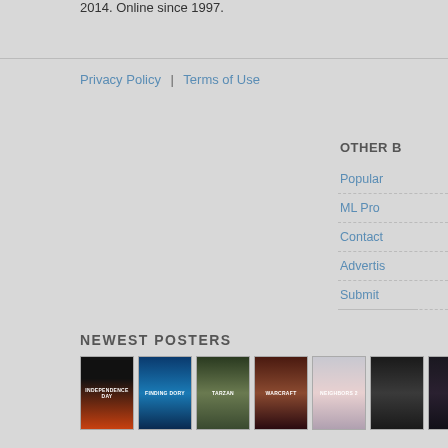2014. Online since 1997.
Privacy Policy  |  Terms of Use
OTHER B
Popular
ML Pro
Contact
Advertis
Submit
NEWEST POSTERS
[Figure (photo): Row of movie poster thumbnails including Independence Day, Finding Dory, Tarzan, Warcraft, Neighbors 2, and others]